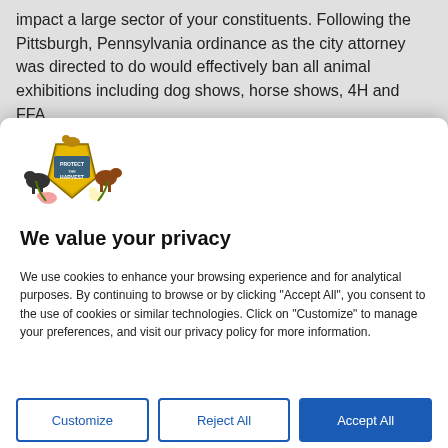impact a large sector of your constituents. Following the Pittsburgh, Pennsylvania ordinance as the city attorney was directed to do would effectively ban all animal exhibitions including dog shows, horse shows, 4H and FFA
[Figure (logo): Protect the Harvest logo showing farm animals around a shield emblem]
We value your privacy
We use cookies to enhance your browsing experience and for analytical purposes. By continuing to browse or by clicking "Accept All", you consent to the use of cookies or similar technologies. Click on "Customize" to manage your preferences, and visit our privacy policy for more information.
Customize | Reject All | Accept All